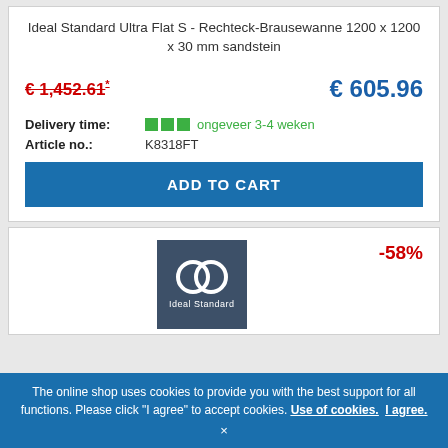Ideal Standard Ultra Flat S - Rechteck-Brausewanne 1200 x 1200 x 30 mm sandstein
€ 1,452.61* (strikethrough/old price) | € 605.96 (new price)
Delivery time: ongeveer 3-4 weken
Article no.: K8318FT
ADD TO CART
[Figure (logo): Ideal Standard logo — two interlocking rings on dark blue/slate background with 'Ideal Standard' text below]
-58%
The online shop uses cookies to provide you with the best support for all functions. Please click "I agree" to accept cookies. Use of cookies. I agree. ×